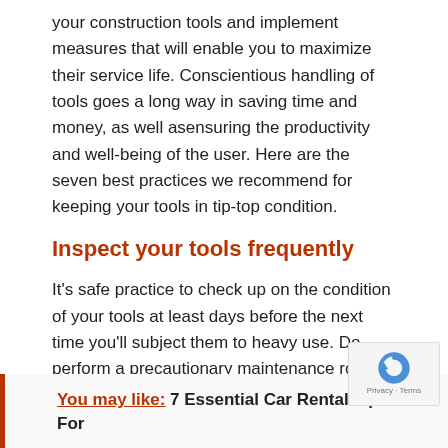your construction tools and implement measures that will enable you to maximize their service life. Conscientious handling of tools goes a long way in saving time and money, as well asensuring the productivity and well-being of the user. Here are the seven best practices we recommend for keeping your tools in tip-top condition.
Inspect your tools frequently
It's safe practice to check up on the condition of your tools at least days before the next time you'll subject them to heavy use. Do perform a precautionary maintenance routine for each of your tools, making sure to sort out blunt or misaligned blades, broken casing, or other problems way ahead of time. Don't wait until the worst-case scenario, which is if a tool fails you in the middle of a job.
You may like: 7 Essential Car Rental Tips For